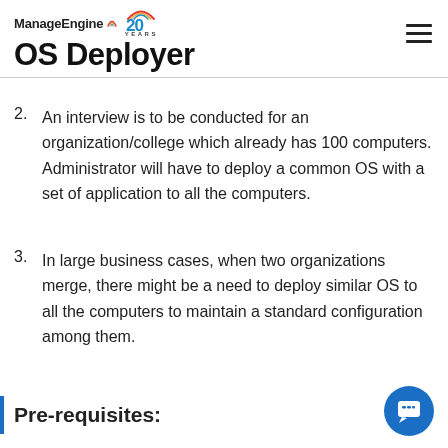ManageEngine 20 YEARS OS Deployer
2. An interview is to be conducted for an organization/college which already has 100 computers. Administrator will have to deploy a common OS with a set of application to all the computers.
3. In large business cases, when two organizations merge, there might be a need to deploy similar OS to all the computers to maintain a standard configuration among them.
Pre-requisites: